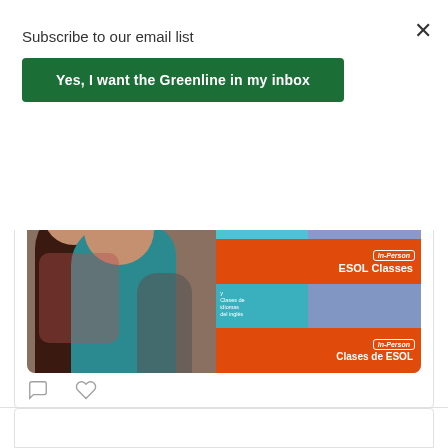Subscribe to our email list
Yes, I want the Greenline in my inbox
#NYC #ESOL #EnglishLessons #LearnEnglish #FreeClasses #Brooklyn #Queens #Manhattan #NY #AprendeIngles #ClasesdeESOL
[Figure (photo): Composite image: left side shows two women smiling for a photo in a classroom; right side shows two stacked flyers for In-Person ESOL Classes and In-Person Clases de ESOL with orange and teal design elements.]